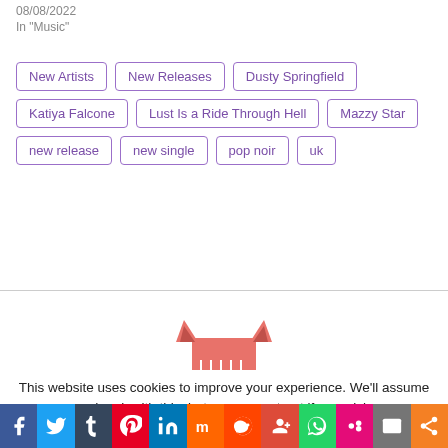08/08/2022
In "Music"
New Artists
New Releases
Dusty Springfield
Katiya Falcone
Lust Is a Ride Through Hell
Mazzy Star
new release
new single
pop noir
uk
[Figure (logo): Decorative logo/mascot icon in salmon/coral color]
This website uses cookies to improve your experience. We'll assume you're ok with this, but you can opt-out if you wish.
[Figure (infographic): Social media sharing bar with icons: Facebook, Twitter, Tumblr, Pinterest, LinkedIn, Mix, Reddit, Google+, WhatsApp, MySpace, Email, Share]